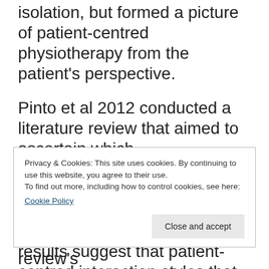isolation, but formed a picture of patient-centred physiotherapy from the patient's perspective.
Pinto et al 2012 conducted a literature review that aimed to ascertain which communication factors facilitate patient – therapist relationship during the patient therapist encounter. The results suggest that patient-centred interaction styles that are related to providing
Privacy & Cookies: This site uses cookies. By continuing to use this website, you agree to their use.
To find out more, including how to control cookies, see here:
Cookie Policy
analysis. Disappointingly the review's